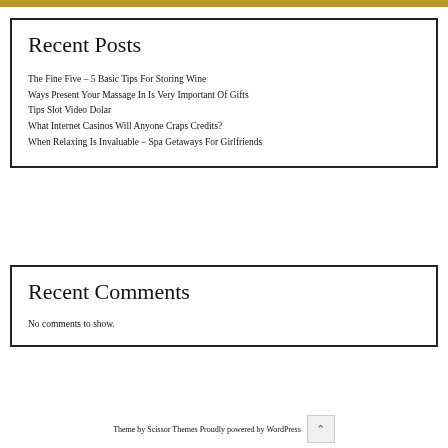Recent Posts
The Fine Five – 5 Basic Tips For Storing Wine
Ways Present Your Massage In Is Very Important Of Gifts
Tips Slot Video Dolar
What Internet Casinos Will Anyone Craps Credits?
When Relaxing Is Invaluable – Spa Getaways For Girlfriends
Recent Comments
No comments to show.
Theme by Scissor Themes Proudly powered by WordPress